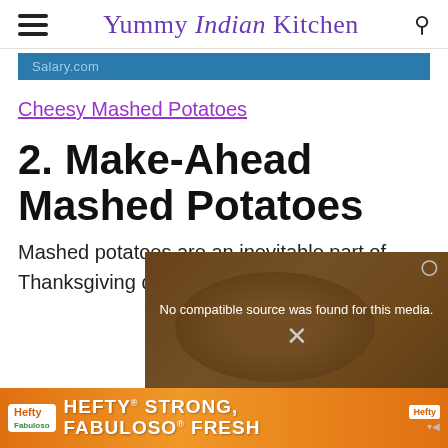Yummy Indian Kitchen
[Figure (screenshot): Advertisement banner showing 'Salary.com' text on a teal/blue background]
Cheesy Mashed Potatoes
2. Make-Ahead Mashed Potatoes
Mashed potatoes are an inevitable part of Thanksgiving dinner. These
[Figure (screenshot): Video player overlay showing 'No compatible source was found for this media.' with an X close button and a dismiss icon, overlaid on a potato image]
[Figure (screenshot): Bottom advertisement for Hefty products showing 'HEFTY STRONG, FABULOSO FRESH' text in orange and white]